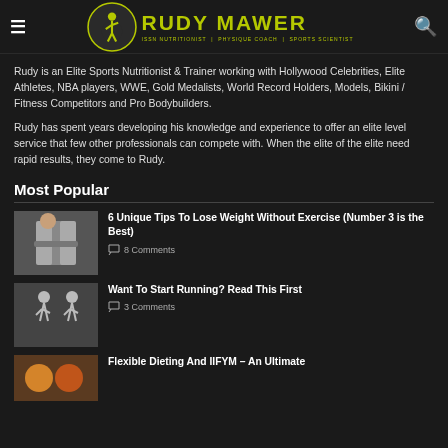RUDY MAWER — ISSN NUTRITIONIST | PHYSIQUE COACH | SPORTS SCIENTIST
Rudy is an Elite Sports Nutritionist & Trainer working with Hollywood Celebrities, Elite Athletes, NBA players, WWE, Gold Medalists, World Record Holders, Models, Bikini / Fitness Competitors and Pro Bodybuilders.
Rudy has spent years developing his knowledge and experience to offer an elite level service that few other professionals can compete with. When the elite of the elite need rapid results, they come to Rudy.
Most Popular
6 Unique Tips To Lose Weight Without Exercise (Number 3 is the Best) — 8 Comments
Want To Start Running? Read This First — 3 Comments
Flexible Dieting And IIFYM – An Ultimate